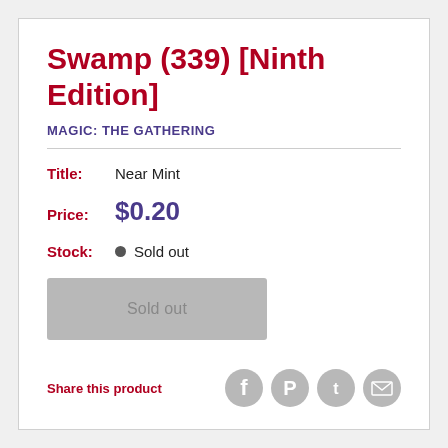Swamp (339) [Ninth Edition]
MAGIC: THE GATHERING
Title: Near Mint
Price: $0.20
Stock: Sold out
Sold out
Share this product